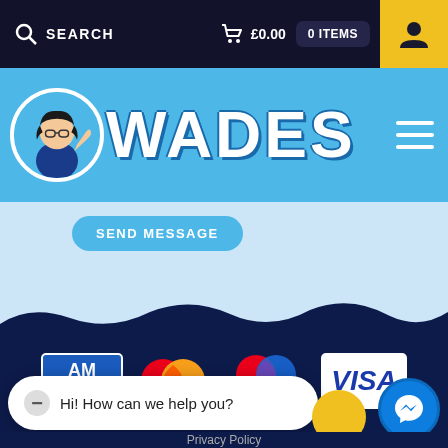SEARCH   £0.00   0 ITEMS
WADES
SEND MESSAGE
[Figure (logo): Payment method logos: American Express (AMEX), Mastercard, Maestro, VISA on dark navy background]
Hi! How can we help you?
Privacy · Terms
Privacy Policy